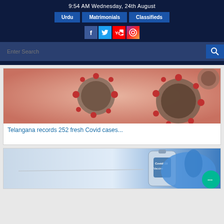9:54 AM Wednesday, 24th August
Urdu | Matrimonials | Classifieds
[Figure (screenshot): Social media icons: Facebook, Twitter, YouTube, Instagram]
Enter Search
[Figure (photo): Microscopic illustration of coronavirus particles in red/pink tones]
Telangana records 252 fresh Covid cases...
[Figure (photo): Covid-19 vaccine vial held by blue-gloved hand with syringe]